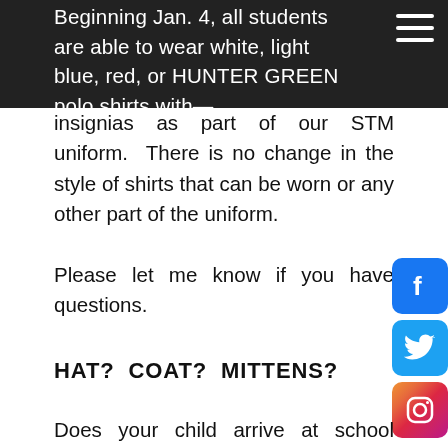Beginning Jan. 4, all students are able to wear white, light blue, red, or HUNTER GREEN polo shirts with insignias as part of our STM uniform. There is no change in the style of shirts that can be worn or any other part of the uniform.
Please let me know if you have questions.
HAT?  COAT?  MITTENS?
[Figure (logo): Facebook, Twitter, and Instagram social media icons on the right side]
Does your child arrive at school adequately dressed for the wintery weather? Please keep in mind that the weather can quickly change and our students go outside every day. We have seen students on these recent chilly days without a coat or other warm attire from parents calling to check on them at...